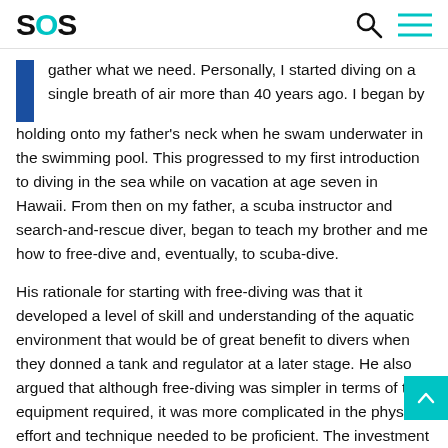SOS
gather what we need. Personally, I started diving on a single breath of air more than 40 years ago. I began by holding onto my father's neck when he swam underwater in the swimming pool. This progressed to my first introduction to diving in the sea while on vacation at age seven in Hawaii. From then on my father, a scuba instructor and search-and-rescue diver, began to teach my brother and me how to free-dive and, eventually, to scuba-dive.
His rationale for starting with free-diving was that it developed a level of skill and understanding of the aquatic environment that would be of great benefit to divers when they donned a tank and regulator at a later stage. He also argued that although free-diving was simpler in terms of the equipment required, it was more complicated in the physical effort and technique needed to be proficient. The investment made in learning to free-dive well would make for much easier diving on scuba later.